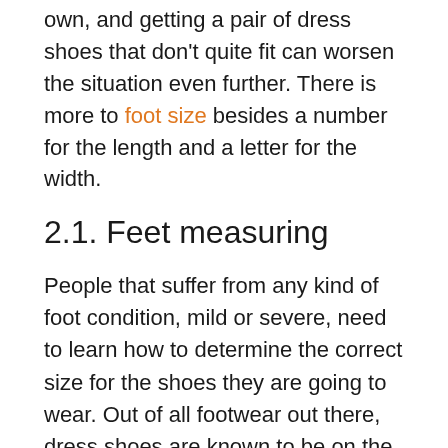own, and getting a pair of dress shoes that don't quite fit can worsen the situation even further. There is more to foot size besides a number for the length and a letter for the width.
2.1. Feet measuring
People that suffer from any kind of foot condition, mild or severe, need to learn how to determine the correct size for the shoes they are going to wear. Out of all footwear out there, dress shoes are known to be on the stiffer side, so measuring your foot to get the correct size of dress shoes for flat feet is paramount. Firstly, you need to get a ruler. And, before you measure your foot, we just want to establish one fact – not all shoes are made equal in the sense of